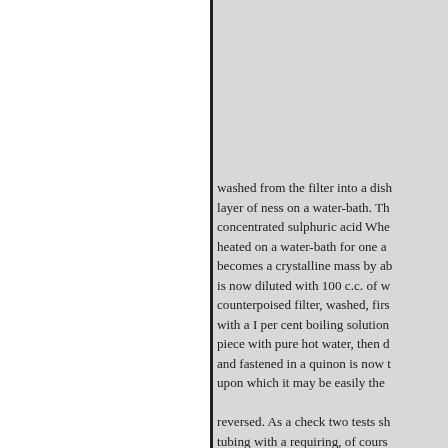washed from the filter into a dish layer of ness on a water-bath. Th concentrated sulphuric acid Whe heated on a water-bath for one a becomes a crystalline mass by ab is now diluted with 100 c.c. of w counterpoised filter, washed, firs with a I per cent boiling solution piece with pure hot water, then d and fastened in a quinon is now t upon which it may be easily the reversed. As a check two tests sh tubing with a requiring, of cours cork, preferably a rubber one, co anthracen by and fitting into the anthraquinon by o:856; as, 7 incl